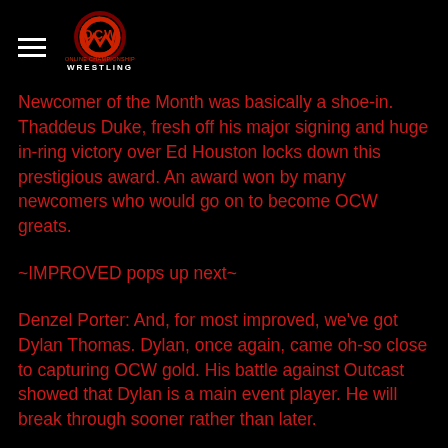OCW Online Championship Wrestling
Newcomer of the Month was basically a shoe-in. Thaddeus Duke, fresh off his major signing and huge in-ring victory over Ed Houston locks down this prestigious award. An award won by many newcomers who would go on to become OCW greats.
~IMPROVED pops up next~
Denzel Porter: And, for most improved, we've got Dylan Thomas. Dylan, once again, came oh-so close to capturing OCW gold. His battle against Outcast showed that Dylan is a main event player. He will break through sooner rather than later.